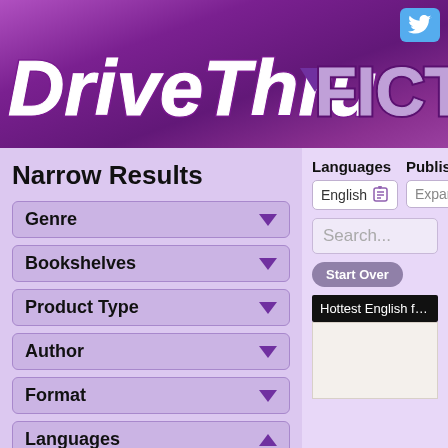[Figure (screenshot): DriveThruFiction website header banner with purple gradient background showing the DriveThru Fiction logo in stylized white and gray text, with a Twitter bird icon button in the top right corner.]
Narrow Results
Genre (dropdown)
Bookshelves (dropdown)
Product Type (dropdown)
Author (dropdown)
Format (dropdown)
Languages (expanded, showing English)
Languages | Publish
English (with trash icon)
Expand...
Search...
Start Over
Hottest English from Expandi...